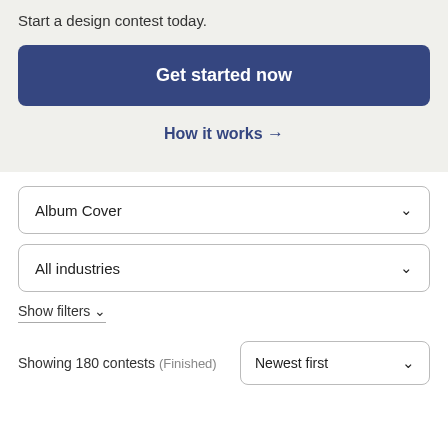Start a design contest today.
Get started now
How it works →
Album Cover
All industries
Show filters ✓
Showing 180 contests (Finished)
Newest first